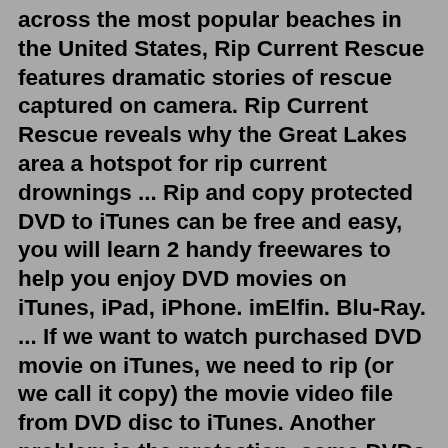across the most popular beaches in the United States, Rip Current Rescue features dramatic stories of rescue captured on camera. Rip Current Rescue reveals why the Great Lakes area a hotspot for rip current drownings ... Rip and copy protected DVD to iTunes can be free and easy, you will learn 2 handy freewares to help you enjoy DVD movies on iTunes, iPad, iPhone. imElfin. Blu-Ray. ... If we want to watch purchased DVD movie on iTunes, we need to rip (or we call it copy) the movie video file from DVD disc to iTunes. Another problem is the protection, some DVDs ...An excellent iTunes DVD ripper that converts DVD to MP4 (MPEG-4 or H.264) iTunes formats free on Mac, no matter the homemade DVDs or commercial protected DVDs. MacX Free iTunes Ripper for Mac offers hassle-free solutions to free rip DVD to iTunes format on Mac OS. Meanwhile, it could also facilitate users to convert DVD to iPhone iPad iPod ... May 28, 2019 · #1 HandBrake Step 1.. Browse the official website and download HandBrake on your PC. Step 2.. Launch it and choose Source